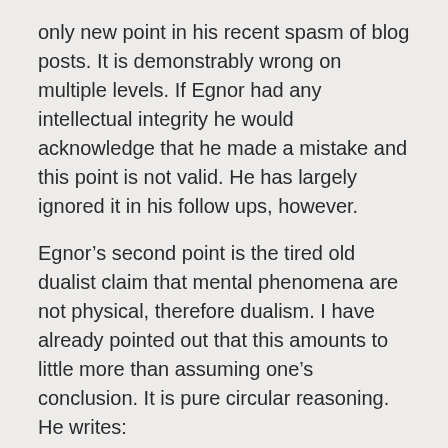only new point in his recent spasm of blog posts. It is demonstrably wrong on multiple levels. If Egnor had any intellectual integrity he would acknowledge that he made a mistake and this point is not valid. He has largely ignored it in his follow ups, however.
Egnor’s second point is the tired old dualist claim that mental phenomena are not physical, therefore dualism. I have already pointed out that this amounts to little more than assuming one’s conclusion. It is pure circular reasoning. He writes:
Often, unintelligible assertions in neuroscience are simply the careless use of metaphors. We say metaphorically that we store our memories in our photo albums or on our hard drives or in our brains. But memories are psychological things. They have neither mass nor volume nor